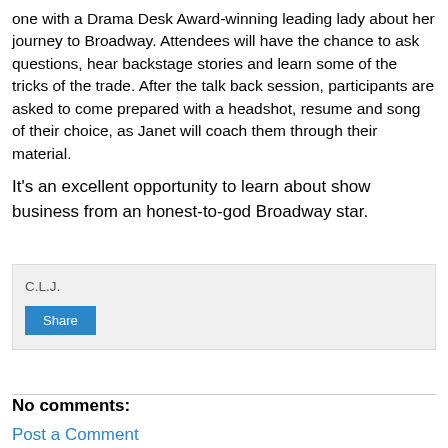one with a Drama Desk Award-winning leading lady about her journey to Broadway. Attendees will have the chance to ask questions, hear backstage stories and learn some of the tricks of the trade. After the talk back session, participants are asked to come prepared with a headshot, resume and song of their choice, as Janet will coach them through their material.
It's an excellent opportunity to learn about show business from an honest-to-god Broadway star.
C.L.J.
Share
No comments:
Post a Comment